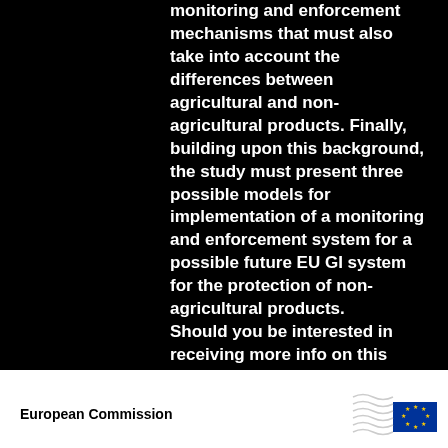monitoring and enforcement mechanisms that must also take into account the differences between agricultural and non-agricultural products. Finally, building upon this background, the study must present three possible models for implementation of a monitoring and enforcement system for a possible future EU GI system for the protection of non-agricultural products.

Should you be interested in receiving more info on this project, do not hesitate to contact me.
European Commission